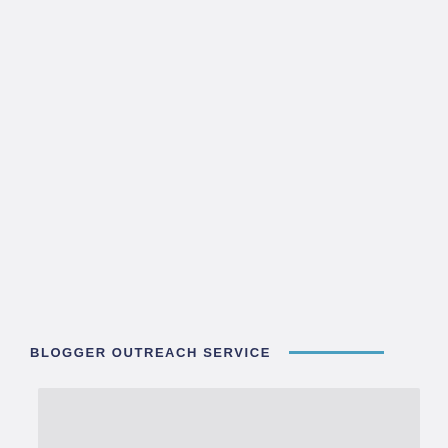BLOGGER OUTREACH SERVICE
[Figure (other): Light gray rectangular band at the bottom of the page, partially visible]